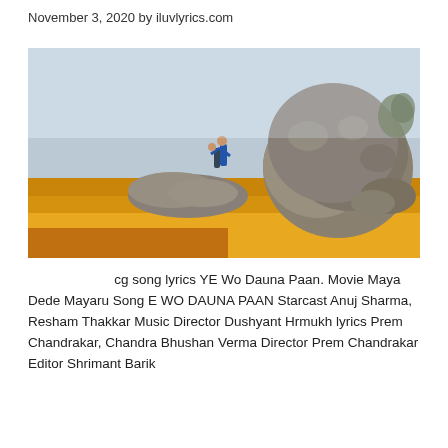November 3, 2020 by iluvlyrics.com
[Figure (photo): A person in blue shirt standing on rocky boulders in an outdoor landscape with yellow-orange dry grass and large rocks in the background, under a hazy sky.]
cg song lyrics YE Wo Dauna Paan. Movie Maya Dede Mayaru Song E WO DAUNA PAAN Starcast Anuj Sharma, Resham Thakkar Music Director Dushyant Hrmukh lyrics Prem Chandrakar, Chandra Bhushan Verma Director Prem Chandrakar Editor Shrimant Barik